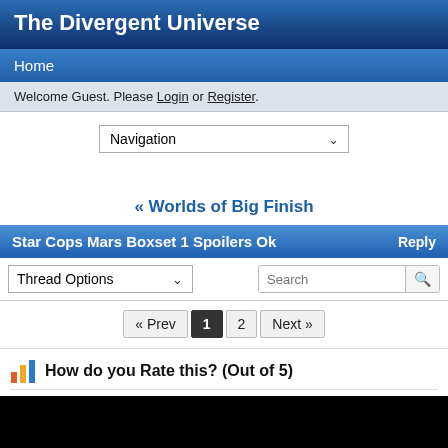The Divergent Universe
Home
Welcome Guest. Please Login or Register.
Navigation
« Worlds of Big Finish
Star Cops Mars Boxset 1 Spoilers Ok   Reply
Thread Options   Search
« Prev  1  2  Next »
How do you Rate this? (Out of 5)
1   0 votes